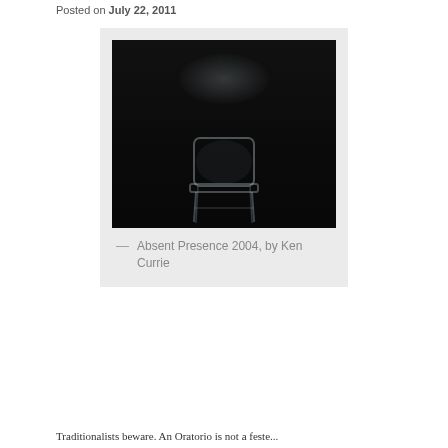Posted on July 22, 2011
[Figure (photo): Dark painting of an empty chair barely illuminated against a very dark background. The chair appears ghostly white/blue with faint outlines. A soft glow is visible near the top of the image.]
— Absent Presence 2004, by Ken Currie
Traditionalists beware. An Oratorio is not a feste...